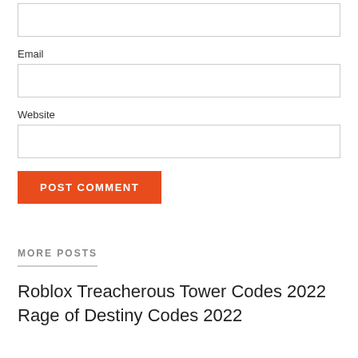Email
Website
POST COMMENT
MORE POSTS
Roblox Treacherous Tower Codes 2022
Rage of Destiny Codes 2022